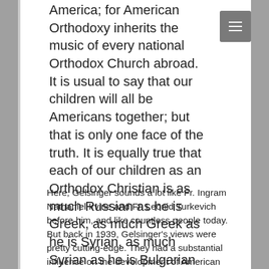America; for American Orthodoxy inherits the music of every national Orthodox Church abroad. It is usual to say that our children will all be Americans together; but that is only one face of the truth. It is equally true that each of our children as an Orthodox Christian is as much Russian as he is Greek, as much Greek as he is Syrian, as much Syrian as he is Bulgarian or Rumanian: for he is the rightful heir of everything Orthodox that has ever entered this country.
Here, Gelsinger sounds a lot like Fr. Ingram Nathaniel Irvine and Fr. Leonid Turkevich before him, and like countless people today. But back in 1939, Gelsinger's views were pretty cutting-edge. They had a substantial influence on the development of American Orthodoxy in